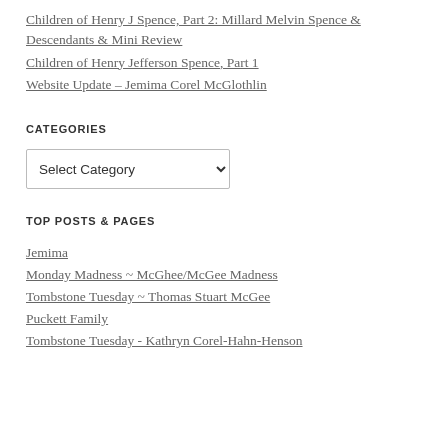Children of Henry J Spence, Part 2: Millard Melvin Spence & Descendants & Mini Review
Children of Henry Jefferson Spence, Part 1
Website Update – Jemima Corel McGlothlin
CATEGORIES
[Figure (other): Select Category dropdown widget]
TOP POSTS & PAGES
Jemima
Monday Madness ~ McGhee/McGee Madness
Tombstone Tuesday ~ Thomas Stuart McGee
Puckett Family
Tombstone Tuesday - Kathryn Corel-Hahn-Henson